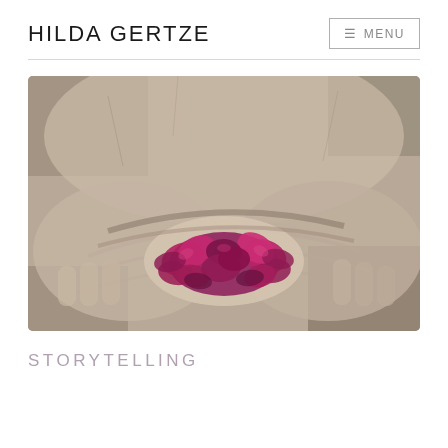HILDA GERTZE
[Figure (photo): Close-up photograph of a stone Buddha statue's folded hands holding dark pink/magenta flower petals. The statue is light grey stone with visible texture and carved drapery lines. The flowers are vibrant deep pink/purple clustered blooms resting in the cupped hands.]
STORYTELLING